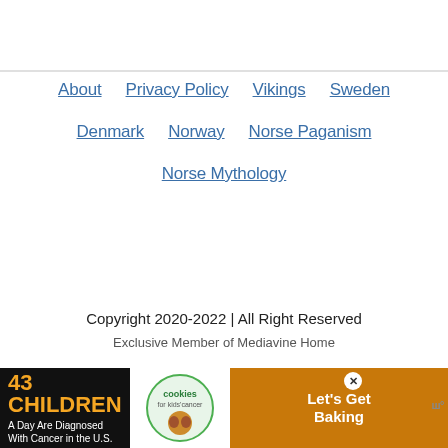About
Privacy Policy
Vikings
Sweden
Denmark
Norway
Norse Paganism
Norse Mythology
Copyright 2020-2022 | All Right Reserved
Exclusive Member of Mediavine Home
[Figure (infographic): Advertisement banner: '43 CHILDREN A Day Are Diagnosed With Cancer in the U.S.' with cookies for kids' cancer logo and 'Let's Get Baking' text on orange background]